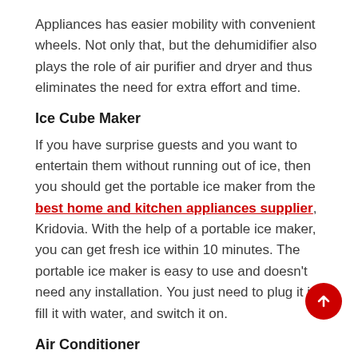Appliances has easier mobility with convenient wheels. Not only that, but the dehumidifier also plays the role of air purifier and dryer and thus eliminates the need for extra effort and time.
Ice Cube Maker
If you have surprise guests and you want to entertain them without running out of ice, then you should get the portable ice maker from the best home and kitchen appliances supplier, Kridovia. With the help of a portable ice maker, you can get fresh ice within 10 minutes. The portable ice maker is easy to use and doesn't need any installation. You just need to plug it in, fill it with water, and switch it on.
Air Conditioner